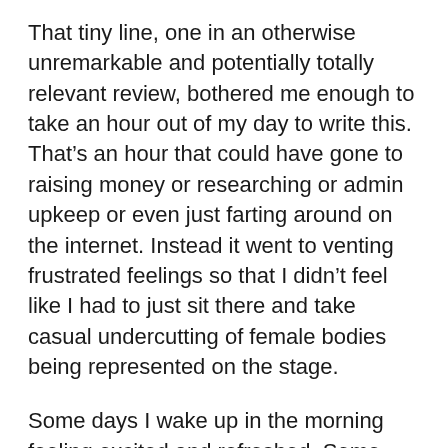That tiny line, one in an otherwise unremarkable and potentially totally relevant review, bothered me enough to take an hour out of my day to write this. That's an hour that could have gone to raising money or researching or admin upkeep or even just farting around on the internet. Instead it went to venting frustrated feelings so that I didn't feel like I had to just sit there and take casual undercutting of female bodies being represented on the stage.
Some days I wake up in the morning feeling excited and refreshed. Some days I manage to put my nose the grindstone and define my work path and get shit done and make some amazing art. Some days I manage to do all those things without someone making a comment in a public paper of record that makes me stop and write a blog post about how much better we'd be as a creative community if they didn't make an offhand comment about